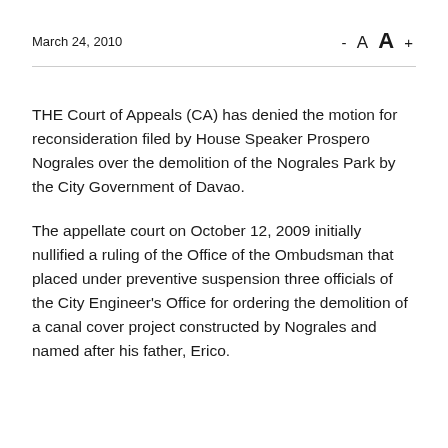March 24, 2010
THE Court of Appeals (CA) has denied the motion for reconsideration filed by House Speaker Prospero Nograles over the demolition of the Nograles Park by the City Government of Davao.
The appellate court on October 12, 2009 initially nullified a ruling of the Office of the Ombudsman that placed under preventive suspension three officials of the City Engineer's Office for ordering the demolition of a canal cover project constructed by Nograles and named after his father, Erico.